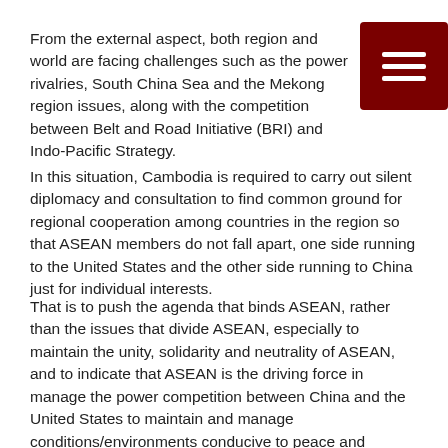From the external aspect, both region and world are facing challenges such as the power rivalries, South China Sea and the Mekong region issues, along with the competition between Belt and Road Initiative (BRI) and Indo-Pacific Strategy.
In this situation, Cambodia is required to carry out silent diplomacy and consultation to find common ground for regional cooperation among countries in the region so that ASEAN members do not fall apart, one side running to the United States and the other side running to China just for individual interests.
That is to push the agenda that binds ASEAN, rather than the issues that divide ASEAN, especially to maintain the unity, solidarity and neutrality of ASEAN, and to indicate that ASEAN is the driving force in manage the power competition between China and the United States to maintain and manage conditions/environments conducive to peace and stability in order to sustain regional prosperity.